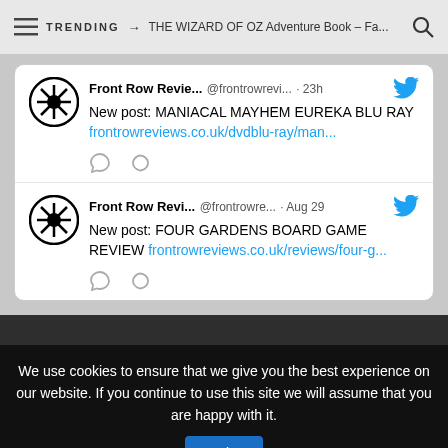TRENDING → THE WIZARD OF OZ Adventure Book – Fa...
Front Row Revie... @frontrowrevi... · 23h
New post: MANIACAL MAYHEM EUREKA BLU RAY frontrowreviews.co.uk/dvdblu-ray/man...
Front Row Revi... @frontrowre... · Aug 29
New post: FOUR GARDENS BOARD GAME REVIEW frontrowreviews.co.uk/reviews/four-g...
We use cookies to ensure that we give you the best experience on our website. If you continue to use this site we will assume that you are happy with it.
Ok